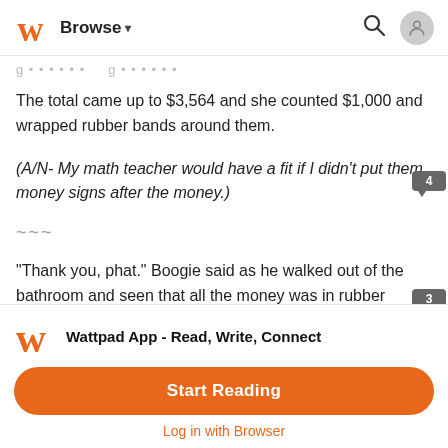Browse
The total came up to $3,564 and she counted $1,000 and wrapped rubber bands around them.
(A/N- My math teacher would have a fit if I didn't put them money signs after the money.)
~~~
"Thank you, phat." Boogie said as he walked out of the bathroom and seen that all the money was in rubber bands.
"You're welcome, Tincc." She smiled at him, making him smile
Wattpad App - Read, Write, Connect
Start Reading
Log in with Browser